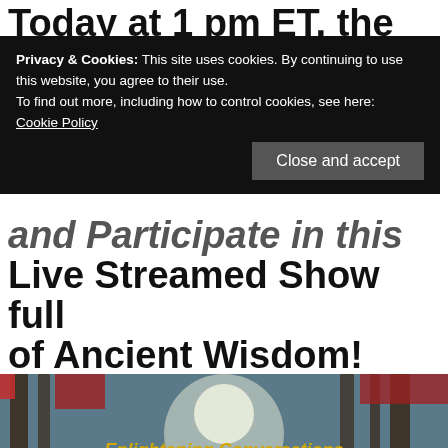Today at 1 pm ET, the
Privacy & Cookies: This site uses cookies. By continuing to use this website, you agree to their use.
To find out more, including how to control cookies, see here:
Cookie Policy
Close and accept
and Participate in this Live Streamed Show full of Ancient Wisdom!
[Figure (photo): Promotional banner for 'Enlightening Conversations with Pam Silver Eagle' showing a forest scene with trees and sunlight. Text reads: Tuesdays – 1 pm ET, Streamed Live on the Goldylocks Productions YouTube Channel, Facebook Page and Periscope]